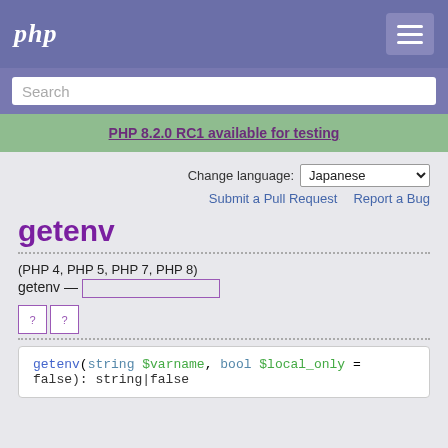php
Search
PHP 8.2.0 RC1 available for testing
Change language: Japanese
Submit a Pull Request   Report a Bug
getenv
(PHP 4, PHP 5, PHP 7, PHP 8)
getenv — [Japanese characters]
[flag icons]
getenv(string $varname, bool $local_only = false): string|false